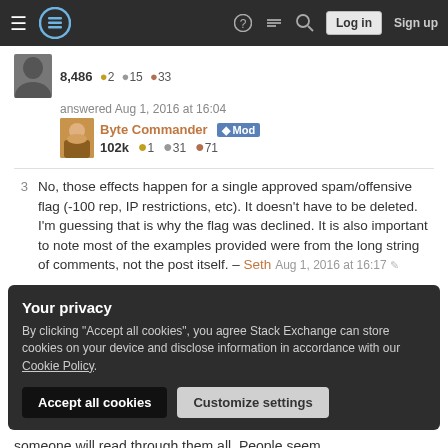Stack Exchange navigation bar with hamburger menu, logo, help, chat, search, Log in, Sign up
8,486 ●2 ●15 ●33
answered Aug 1, 2016 at 16:04
Byte Commander ♦Mod 102k ●1 ●31 ●71
3  No, those effects happen for a single approved spam/offensive flag (-100 rep, IP restrictions, etc). It doesn't have to be deleted. I'm guessing that is why the flag was declined. It is also important to note most of the examples provided were from the long string of comments, not the post itself. – Seth Aug 1, 2016 at 16:17 ✎
Your privacy
By clicking "Accept all cookies", you agree Stack Exchange can store cookies on your device and disclose information in accordance with our Cookie Policy.
Accept all cookies   Customize settings
someone will read through them all. People seem